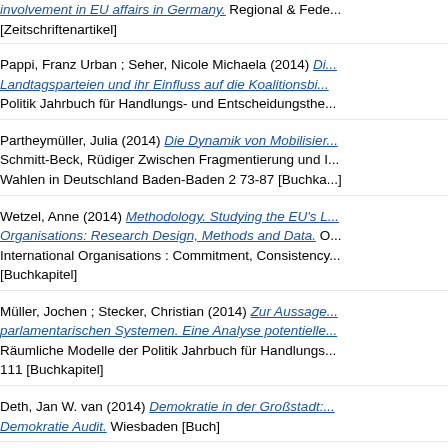involvement in EU affairs in Germany. Regional & Fede... [Zeitschriftenartikel]
Pappi, Franz Urban ; Seher, Nicole Michaela (2014) Di... Landtagsparteien und ihr Einfluss auf die Koalitionsbil... Politik Jahrbuch für Handlungs- und Entscheidungsthe...
Partheymüller, Julia (2014) Die Dynamik von Mobilisier... Schmitt-Beck, Rüdiger Zwischen Fragmentierung und I... Wahlen in Deutschland Baden-Baden 2 73-87 [Buchka...]
Wetzel, Anne (2014) Methodology. Studying the EU's L... Organisations: Research Design, Methods and Data. O... International Organisations : Commitment, Consistency... [Buchkapitel]
Müller, Jochen ; Stecker, Christian (2014) Zur Aussage... parlamentarischen Systemen. Eine Analyse potentielle... Räumliche Modelle der Politik Jahrbuch für Handlungs... 111 [Buchkapitel]
Deth, Jan W. van (2014) Demokratie in der Großstadt:... Demokratie Audit. Wiesbaden [Buch]
Garcia-Albacete, Gema ; Theocharis, Yannis (2014) O... Twitter Content: A Comparison of the Occupy Moveme... Marta Analyzing Social Media Data and Web Networks...